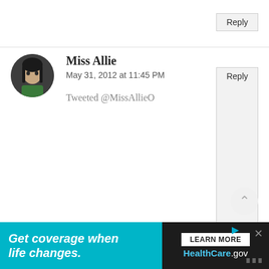Reply
Miss Allie
May 31, 2012 at 11:45 PM
Tweeted @MissAllieO
Reply
Kelly
June 1, 2012 at 12:22 AM
I would pick the graphics print ruffle tank!
Reply
Unknown
[Figure (infographic): Ad banner: Get coverage when life changes. LEARN MORE HealthCare.gov]